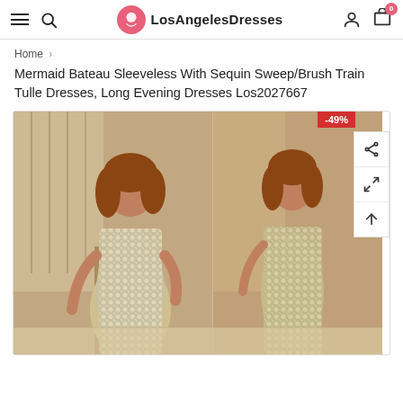LosAngelesDresses — navigation bar with hamburger menu, search icon, logo, account icon, and cart (0)
Home >
Mermaid Bateau Sleeveless With Sequin Sweep/Brush Train Tulle Dresses, Long Evening Dresses Los2027667
[Figure (photo): Product photo showing a woman wearing a sparkly silver/gold sequin mermaid evening gown, shown twice side by side, with a -49% discount badge and action icons (share, expand, scroll-up) on the right side.]